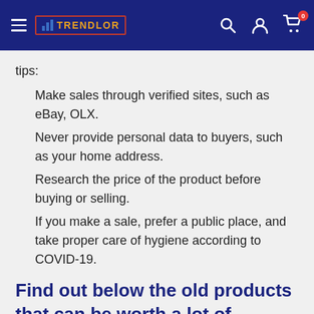TRENDLOR
tips:
Make sales through verified sites, such as eBay, OLX.
Never provide personal data to buyers, such as your home address.
Research the price of the product before buying or selling.
If you make a sale, prefer a public place, and take proper care of hygiene according to COVID-19.
Find out below the old products that can be worth a lot of money:
Vinyl records